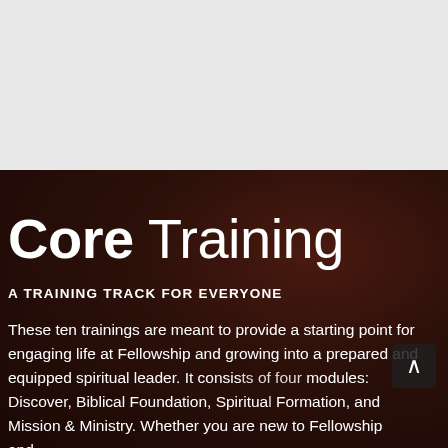[Figure (photo): Dark brown textured background resembling wood or leather, with a lighter gray/white section at the top]
Core Training
A TRAINING TRACK FOR EVERYONE
These ten trainings are meant to provide a starting point for engaging life at Fellowship and growing into a prepared and equipped spiritual leader. It consists of four modules: Discover, Biblical Foundation, Spiritual Formation, and Mission & Ministry. Whether you are new to Fellowship and...